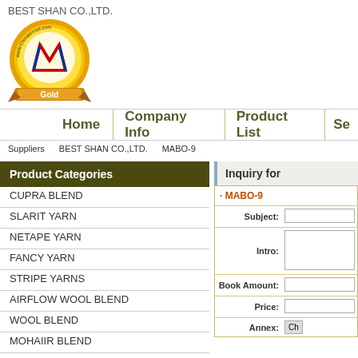BEST SHAN CO.,LTD.
[Figure (logo): Chinatexnet.com Gold member badge with golden ribbon and shield logo]
Home | Company Info | Product List | Se
Suppliers   BEST SHAN CO.,LTD.   MABO-9
Product Categories
CUPRA BLEND
SLARIT YARN
NETAPE YARN
FANCY YARN
STRIPE YARNS
AIRFLOW WOOL BLEND
WOOL BLEND
MOHAIIR BLEND
NATURAL ALPACA BLEND
Inquiry for
|  |  |
| --- | --- |
| · MABO-9 |  |
| Subject: |  |
| Intro: |  |
| Book Amount: |  |
| Price: |  |
| Annex: | Ch |